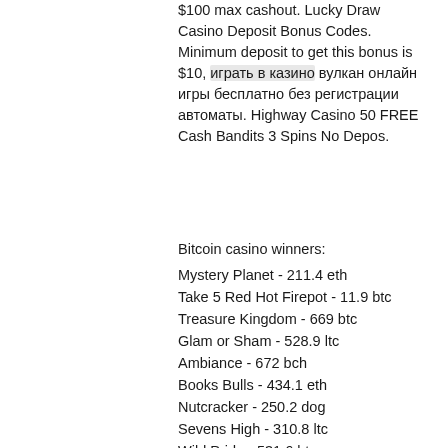$100 max cashout. Lucky Draw Casino Deposit Bonus Codes. Minimum deposit to get this bonus is $10, играть в казино вулкан онлайн игры бесплатно без регистрации автоматы. Highway Casino 50 FREE Cash Bandits 3 Spins No Depos.
Bitcoin casino winners:
Mystery Planet - 211.4 eth
Take 5 Red Hot Firepot - 11.9 btc
Treasure Kingdom - 669 btc
Glam or Sham - 528.9 ltc
Ambiance - 672 bch
Books Bulls - 434.1 eth
Nutcracker - 250.2 dog
Sevens High - 310.8 ltc
Wild Pride - 531.6 btc
Freaky Fruit - 310.9 ltc
Magic Idol - 160 ltc
USSR Seventies - 290.1 usdt
Ghostbusters - 610.6 btc
Space Wars - 635.2 ltc